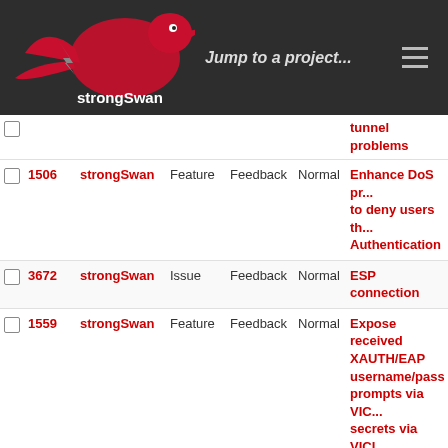strongSwan — Jump to a project...
|  | # | Project | Tracker | Status | Priority | Subject |
| --- | --- | --- | --- | --- | --- | --- |
|  |  |  |  |  |  | tunnel problems |
|  | 1506 | strongSwan | Feature | Feedback | Normal | Enhance DoS pr... to deny users th... Authentication |
|  | 3672 | strongSwan | Issue | Feedback | Normal | ESP connection |
|  | 1559 | strongSwan | Feature | Feedback | Normal | Expose received XAUTH/EAP username/pasw... prompts via VIC... secrets via VICI prompt |
|  | 3041 | strongSwan | Issue | Feedback | Low | fail2ban or equiv... |
|  | 3669 | strongSwan | Issue | Feedback | Normal | Failed connectio... IKE_SA (Checkp... Server) |
|  | 3692 | strongSwan | Issue | Feedback | Normal | Failing IPsec Ph... connection betw... Centos 7 VPS a... ASA5540 |